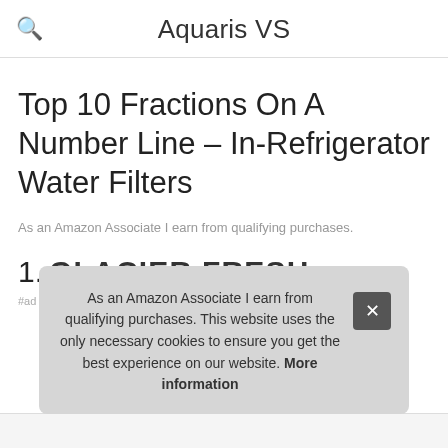Aquaris VS
Top 10 Fractions On A Number Line – In-Refrigerator Water Filters
As an Amazon Associate I earn from qualifying purchases.
1. GLACIER FRESH
#ad
As an Amazon Associate I earn from qualifying purchases. This website uses the only necessary cookies to ensure you get the best experience on our website. More information